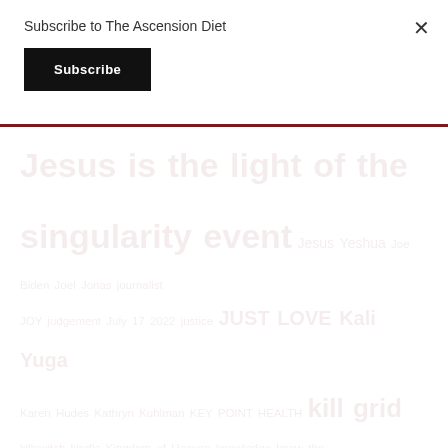Subscribe to The Ascension Diet
Subscribe
×
Jesus is the light of the singularity event Jesus Yeshua Joe Biden Joel Jonas journalist JOY judgement July 17 2022 justice JUST LOVE Kali Yuga Karen Hudes Kathryn Kuhlman KEY POINT HEALTH kill grid killswitch kindle Kingdom of Heaven knowledge know the enemy kolbrin Kolbrin Bible kombucha Kukulcan lamb lamb of God language La Quinta Columna last chance Last Days Laura Brooks Laura Rohrer Little Brooks Laura Rohrer Little Brooks Ps. Law Law of Love leave the soul trap LED left behind legal letter liberty LIES LIFE LIFE MEANING light Light Bodies light body LIGHT food